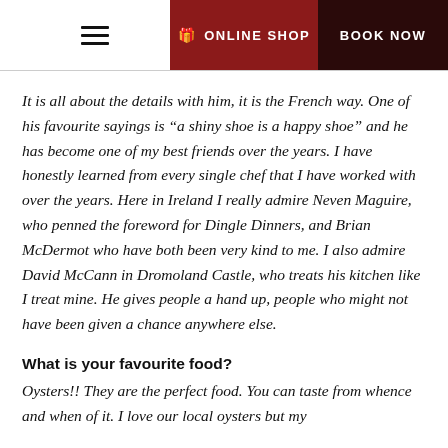ONLINE SHOP   BOOK NOW
It is all about the details with him, it is the French way. One of his favourite sayings is “a shiny shoe is a happy shoe” and he has become one of my best friends over the years. I have honestly learned from every single chef that I have worked with over the years. Here in Ireland I really admire Neven Maguire, who penned the foreword for Dingle Dinners, and Brian McDermot who have both been very kind to me. I also admire David McCann in Dromoland Castle, who treats his kitchen like I treat mine. He gives people a hand up, people who might not have been given a chance anywhere else.
What is your favourite food?
Oysters!! They are the perfect food. You can taste from whence and when of it. I love our local oysters but my